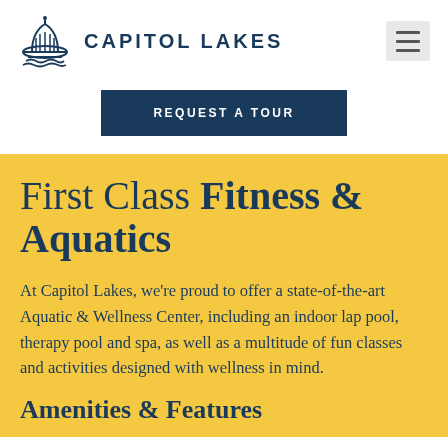CAPITOL LAKES
REQUEST A TOUR
First Class Fitness & Aquatics
At Capitol Lakes, we're proud to offer a state-of-the-art Aquatic & Wellness Center, including an indoor lap pool, therapy pool and spa, as well as a multitude of fun classes and activities designed with wellness in mind.
Amenities & Features